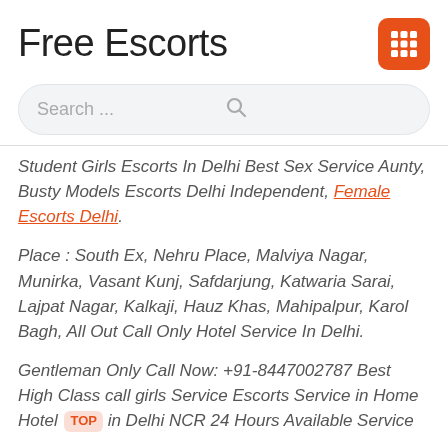Free Escorts
[Figure (other): Orange grid/menu icon (3x3 squares) on orange rounded square background]
Search ...
Student Girls Escorts In Delhi Best Sex Service Aunty, Busty Models Escorts Delhi Independent, Female Escorts Delhi.
Place : South Ex, Nehru Place, Malviya Nagar, Munirka, Vasant Kunj, Safdarjung, Katwaria Sarai, Lajpat Nagar, Kalkaji, Hauz Khas, Mahipalpur, Karol Bagh, All Out Call Only Hotel Service In Delhi.
Gentleman Only Call Now: +91-8447002787 Best High Class call girls Service Escorts Service in Home Hotel in Delhi NCR 24 Hours Available Service
We provide Super Class Hot and Sexy Indian Female